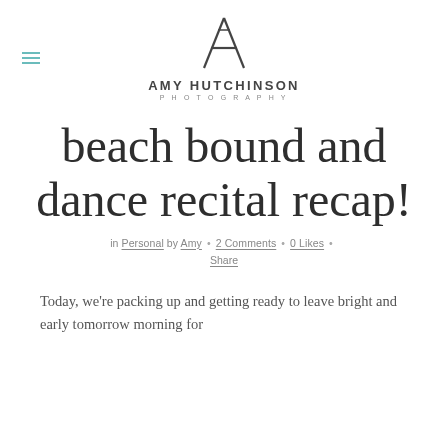[Figure (logo): Amy Hutchinson Photography logo with stylized 'A' lettermark above the name]
beach bound and dance recital recap!
in Personal by Amy • 2 Comments • 0 Likes • Share
Today, we're packing up and getting ready to leave bright and early tomorrow morning for